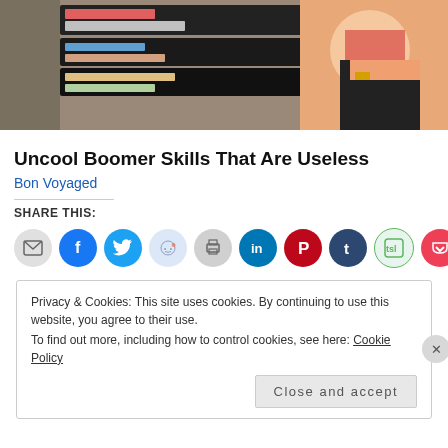[Figure (photo): Person in pink top reaching into a travel organizer bag with multiple compartments containing toiletries and cosmetics]
Uncool Boomer Skills That Are Useless
Bon Voyaged
SHARE THIS:
[Figure (infographic): Row of social share buttons: email, Facebook, Twitter, Reddit, Print, LinkedIn, Pinterest, Tumblr, TSI, Pocket]
Privacy & Cookies: This site uses cookies. By continuing to use this website, you agree to their use.
To find out more, including how to control cookies, see here: Cookie Policy
Close and accept